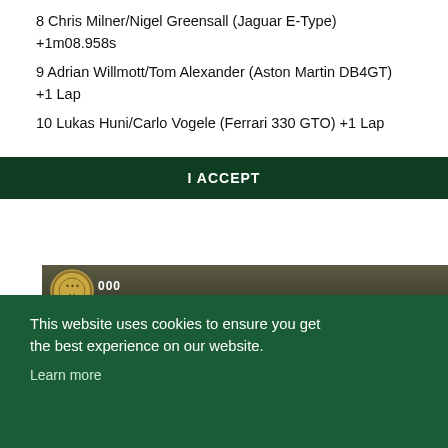8 Chris Milner/Nigel Greensall (Jaguar E-Type) +1m08.958s
9 Adrian Willmott/Tom Alexander (Aston Martin DB4GT) +1 Lap
10 Lukas Huni/Carlo Vogele (Ferrari 330 GTO) +1 Lap
Fastest Lap:
Macari/Kristensen 1m29.511s (96.52mph)
[Figure (photo): Partially visible photo of a racing event with an emblem/badge visible at top left, overlaid by a cookie consent dialog]
This website uses cookies to ensure you get the best experience on our website. Learn more
I ACCEPT